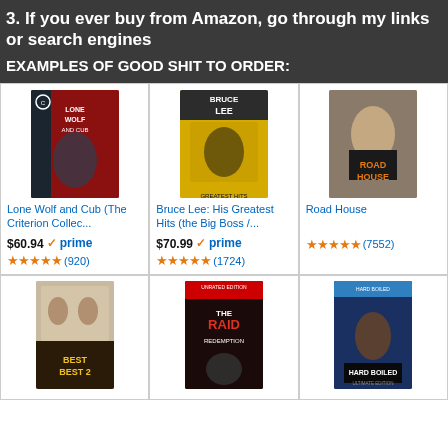3. If you ever buy from Amazon, go through my links or search engines
EXAMPLES OF GOOD SHIT TO ORDER:
[Figure (photo): Lone Wolf and Cub (The Criterion Collection) book/blu-ray cover — dark red comic art]
Lone Wolf and Cub (The Criterion Collec...
$60.94 ✓prime
★★★★★ (920)
[Figure (photo): Bruce Lee: His Greatest Hits (the Big Boss /...) — yellow and black martial arts cover]
Bruce Lee: His Greatest Hits (the Big Boss /...
$70.99 ✓prime
★★★★★ (1724)
[Figure (photo): Road House — Patrick Swayze in black t-shirt arms crossed]
Road House
★★★★★ (7552)
[Figure (photo): Best of the Best 2 DVD cover]
[Figure (photo): The Raid: Redemption Unrated Edition DVD cover]
[Figure (photo): Hard Boiled Ultimate Edition Blu-ray cover]